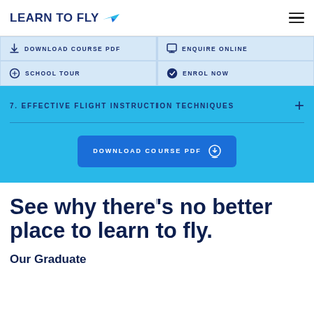LEARN TO FLY
DOWNLOAD COURSE PDF
ENQUIRE ONLINE
SCHOOL TOUR
ENROL NOW
7. EFFECTIVE FLIGHT INSTRUCTION TECHNIQUES
DOWNLOAD COURSE PDF
See why there’s no better place to learn to fly.
Our Graduate